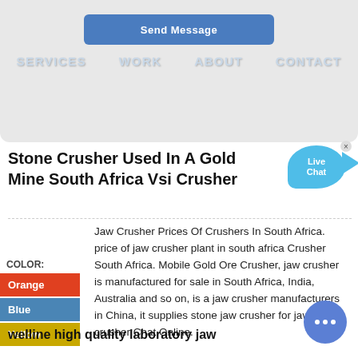[Figure (screenshot): Top gray banner with a blue 'Send Message' button and a navigation bar with links: SERVICES, WORK, ABOUT, CONTACT]
Stone Crusher Used In A Gold Mine South Africa Vsi Crusher
[Figure (illustration): Live Chat bubble icon in blue with fish-tail shape and a close X button]
Jaw Crusher Prices Of Crushers In South Africa. price of jaw crusher plant in south africa Crusher South Africa. Mobile Gold Ore Crusher, jaw crusher is manufactured for sale in South Africa, India, Australia and so on, is a jaw crusher manufacturers in China, it supplies stone jaw crusher for jaw crusher Chat Online.
COLOR:
Orange
Blue
Yellow
welline high quality laboratory jaw